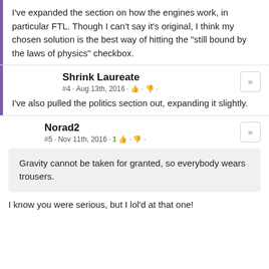I've expanded the section on how the engines work, in particular FTL. Though I can't say it's original, I think my chosen solution is the best way of hitting the "still bound by the laws of physics" checkbox.
Shrink Laureate
#4 · Aug 13th, 2016 · 👍 · 👎 ·
I've also pulled the politics section out, expanding it slightly.
Norad2
#5 · Nov 11th, 2016 · 1 👍 · 👎 ·
Gravity cannot be taken for granted, so everybody wears trousers.
I know you were serious, but I lol'd at that one!